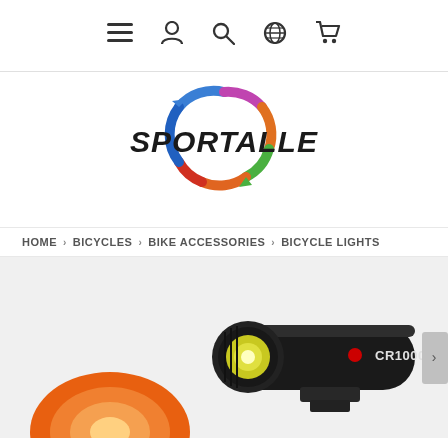Navigation bar with icons: menu, user account, search, globe/language, shopping cart
[Figure (logo): Sportalle logo: colorful circular arrow ring in blue, green, orange, red, pink colors surrounding the word SPORTALLE in bold italic black text]
HOME › BICYCLES › BIKE ACCESSORIES › BICYCLE LIGHTS
[Figure (photo): Product photo of CR1000 bicycle light set on gray background: a black cylindrical front bike light with CR1000 branding and a red LED indicator, plus an orange rear bike tail light partially visible in lower left]